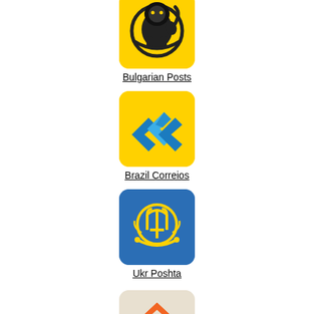[Figure (logo): Bulgarian Posts logo - yellow background with black lion postal emblem]
Bulgarian Posts
[Figure (logo): Brazil Correios logo - yellow background with blue arrow/boomerang shapes]
Brazil Correios
[Figure (logo): Ukr Poshta logo - blue background with yellow trident and postal horn emblem]
Ukr Poshta
[Figure (logo): Fourth postal service logo - beige/tan background with orange chevron/roof shape]